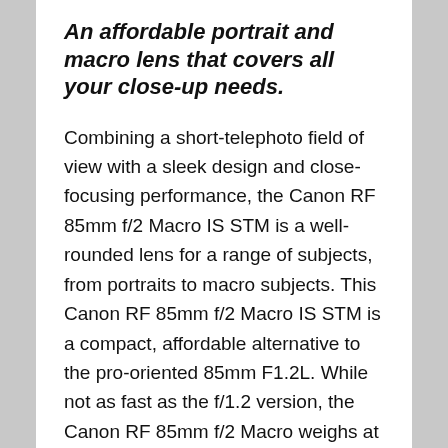An affordable portrait and macro lens that covers all your close-up needs.
Combining a short-telephoto field of view with a sleek design and close-focusing performance, the Canon RF 85mm f/2 Macro IS STM is a well-rounded lens for a range of subjects, from portraits to macro subjects. This Canon RF 85mm f/2 Macro IS STM is a compact, affordable alternative to the pro-oriented 85mm F1.2L. While not as fast as the f/1.2 version, the Canon RF 85mm f/2 Macro weighs at 500g (1.1 lbs), less than half the weight of the 85mm F1.2. Just like the RF 35mm F1.8 Macro IS USM, its close focus design enables working with subject matter as close as 1.15' away with a 1:2 maximum magnification and the STM stepping motor offers